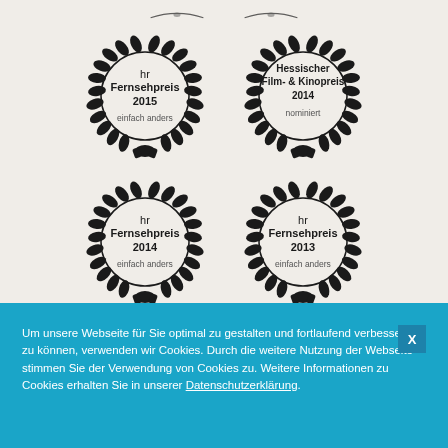[Figure (illustration): Four award laurel wreath badges arranged in two rows of two. Row 1: 'hr Fernsehpreis 2015 einfach anders' and 'Hessischer Film- & Kinopreis 2014 nominiert'. Row 2: 'hr Fernsehpreis 2014 einfach anders' and 'hr Fernsehpreis 2013 einfach anders'. Partial badges visible at top and bottom edges.]
Um unsere Webseite für Sie optimal zu gestalten und fortlaufend verbessern zu können, verwenden wir Cookies. Durch die weitere Nutzung der Webseite stimmen Sie der Verwendung von Cookies zu. Weitere Informationen zu Cookies erhalten Sie in unserer Datenschutzerklärung.